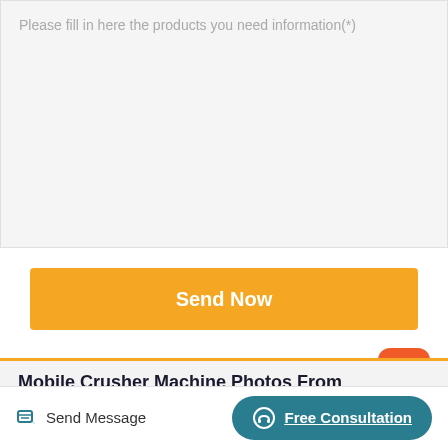Please fill in here the products you need information(*)
Send Now
[Figure (other): Orange notification/rocket icon button]
Mobile Crusher Machine Photos From Torrent
Send Message
Free Consultation